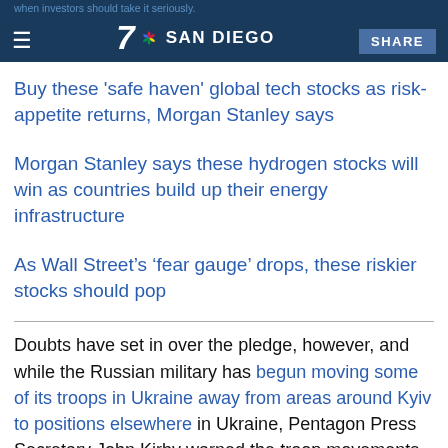7 SAN DIEGO | SHARE
Buy these 'safe haven' global tech stocks as risk-appetite returns, Morgan Stanley says
Morgan Stanley says these hydrogen stocks will win as countries build up their energy infrastructure
As Wall Street's ‘fear gauge’ drops, these riskier stocks should pop
Doubts have set in over the pledge, however, and while the Russian military has begun moving some of its troops in Ukraine away from areas around Kyiv to positions elsewhere in Ukraine, Pentagon Press Secretary John Kirby warned the troop movements do not amount to a retreat.